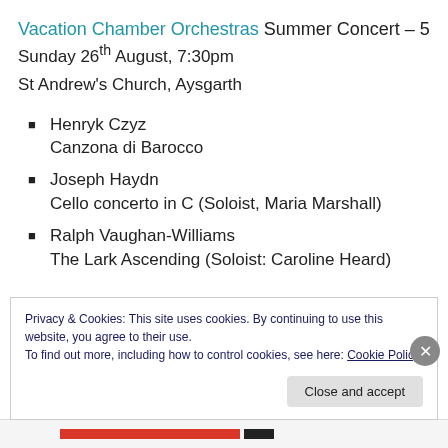Vacation Chamber Orchestras Summer Concert – 5
Sunday 26th August, 7:30pm
St Andrew's Church, Aysgarth
Henryk Czyz
Canzona di Barocco
Joseph Haydn
Cello concerto in C (Soloist, Maria Marshall)
Ralph Vaughan-Williams
The Lark Ascending (Soloist: Caroline Heard)
Privacy & Cookies: This site uses cookies. By continuing to use this website, you agree to their use.
To find out more, including how to control cookies, see here: Cookie Policy